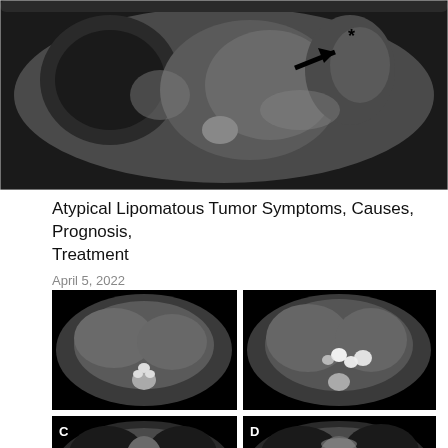[Figure (photo): Grayscale axial MRI scan of the abdomen/pelvis showing a large mass. A bold black arrow points to an area marked with an asterisk (*) in the upper portion of the image.]
Atypical Lipomatous Tumor Symptoms, Causes, Prognosis, Treatment
April 5, 2022
[Figure (photo): Grayscale axial CT scan of the upper abdomen showing liver and other abdominal structures with no label overlay (top-left of the 2x2 grid).]
[Figure (photo): Grayscale axial CT scan showing abdominal structures with bright white vascular markings (top-right of the 2x2 grid).]
[Figure (photo): Grayscale axial CT scan labeled 'C' in the upper-left corner (bottom-left of the 2x2 grid, partially visible).]
[Figure (photo): Grayscale axial CT scan labeled 'D' in the upper-left corner with a chevron/up-arrow icon in the lower-right corner (bottom-right of the 2x2 grid, partially visible).]